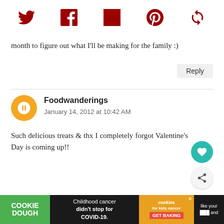[Figure (other): Social media sharing icons: Twitter, Facebook, Flipboard, Pinterest, and one more icon, all in dark red color]
month to figure out what I'll be making for the family :)
Reply
Foodwanderings
January 14, 2012 at 10:42 AM

Such delicious treats & thx I completely forgot Valentine's Day is coming up!!
Amalia
January 14, 2012 at 1:52 PM
[Figure (other): What's Next promo: Heart Shaped Chambord... with thumbnail image]
[Figure (other): Advertisement banner: Cookie Dough - Childhood cancer didn't stop for COVID-19. Cookies for kids cancer - GET BAKING]